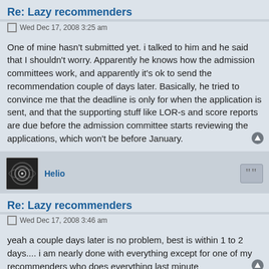Re: Lazy recommenders
Wed Dec 17, 2008 3:25 am
One of mine hasn't submitted yet. i talked to him and he said that I shouldn't worry. Apparently he knows how the admission committees work, and apparently it's ok to send the recommendation couple of days later. Basically, he tried to convince me that the deadline is only for when the application is sent, and that the supporting stuff like LOR-s and score reports are due before the admission committee starts reviewing the applications, which won't be before January.
Helio
Re: Lazy recommenders
Wed Dec 17, 2008 3:46 am
yeah a couple days later is no problem, best is within 1 to 2 days.... i am nearly done with everything except for one of my recommenders who does everything last minute
techodestructo